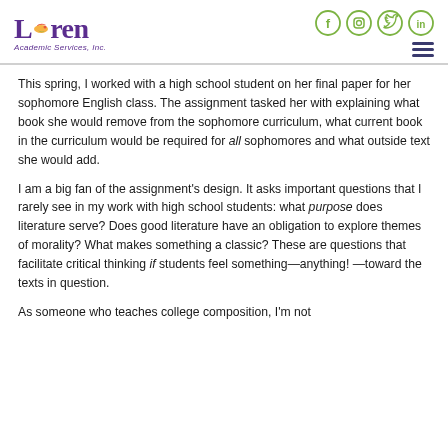Loren Academic Services, Inc. — header with social icons and navigation menu
This spring, I worked with a high school student on her final paper for her sophomore English class. The assignment tasked her with explaining what book she would remove from the sophomore curriculum, what current book in the curriculum would be required for all sophomores and what outside text she would add.
I am a big fan of the assignment's design. It asks important questions that I rarely see in my work with high school students: what purpose does literature serve? Does good literature have an obligation to explore themes of morality? What makes something a classic? These are questions that facilitate critical thinking if students feel something—anything! —toward the texts in question.
As someone who teaches college composition, I'm not